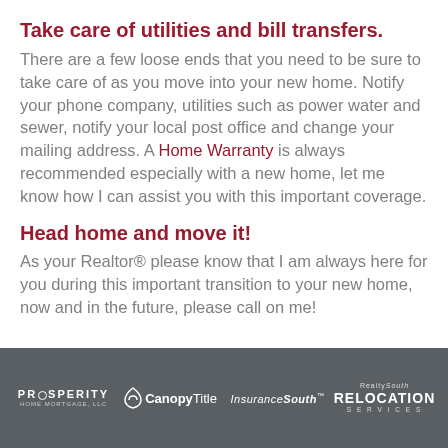Take care of utilities and bill transfers.
There are a few loose ends that you need to be sure to take care of as you move into your new home. Notify your phone company, utilities such as power water and sewer, notify your local post office and change your mailing address. A Home Warranty is always recommended especially with a new home, let me know how I can assist you with this important coverage.
Head home and move it!
As your Realtor® please know that I am always here for you during this important transition to your new home, now and in the future, please call on me!
PROSPERITY HOME MORTGAGE, LLC | Canopy Title | InsuranceSouth | RealtySouth Relocation Services